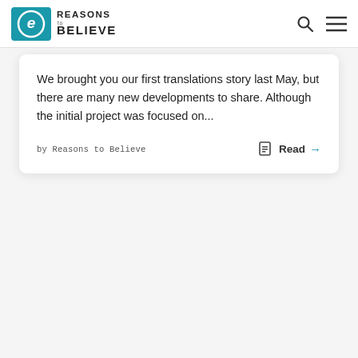Reasons to Believe
We brought you our first translations story last May, but there are many new developments to share. Although the initial project was focused on...
by Reasons to Believe
Read →